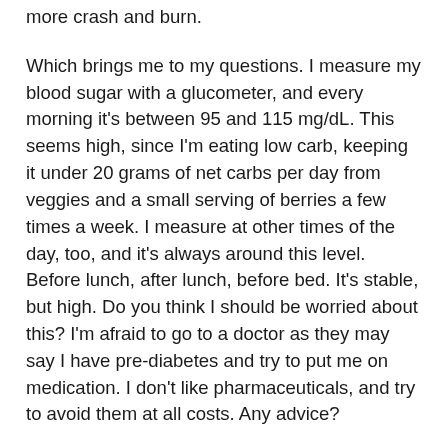more crash and burn.
Which brings me to my questions. I measure my blood sugar with a glucometer, and every morning it's between 95 and 115 mg/dL. This seems high, since I'm eating low carb, keeping it under 20 grams of net carbs per day from veggies and a small serving of berries a few times a week. I measure at other times of the day, too, and it's always around this level. Before lunch, after lunch, before bed. It's stable, but high. Do you think I should be worried about this? I'm afraid to go to a doctor as they may say I have pre-diabetes and try to put me on medication. I don't like pharmaceuticals, and try to avoid them at all costs. Any advice?
My other question is that after a more strenuous workout like spin class or Orange Theory, I feel really depleted, and my heart rate sometimes feels out of control during these workouts. I back it down